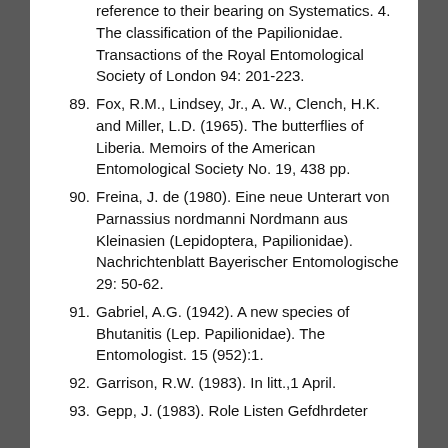(continuation) reference to their bearing on Systematics. 4. The classification of the Papilionidae. Transactions of the Royal Entomological Society of London 94: 201-223.
89. Fox, R.M., Lindsey, Jr., A. W., Clench, H.K. and Miller, L.D. (1965). The butterflies of Liberia. Memoirs of the American Entomological Society No. 19, 438 pp.
90. Freina, J. de (1980). Eine neue Unterart von Parnassius nordmanni Nordmann aus Kleinasien (Lepidoptera, Papilionidae). Nachrichtenblatt Bayerischer Entomologische 29: 50-62.
91. Gabriel, A.G. (1942). A new species of Bhutanitis (Lep. Papilionidae). The Entomologist. 15 (952):1.
92. Garrison, R.W. (1983). In litt.,1 April.
93. Gepp, J. (1983). Role Listen Gefdhrdeter